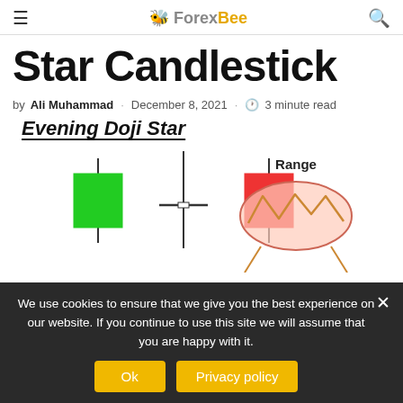ForexBee
Star Candlestick
by Ali Muhammad · December 8, 2021 · 3 minute read
[Figure (illustration): Evening Doji Star candlestick pattern diagram showing three candles (green bullish, doji cross, red bearish) on the left, and a range diagram with zigzag price action inside an oval on the right labeled 'Range']
We use cookies to ensure that we give you the best experience on our website. If you continue to use this site we will assume that you are happy with it.